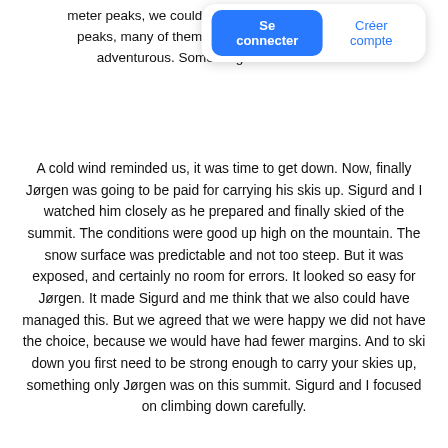meter peaks, we could se… us peaks, many of them und… e adventurous. Something to dream about…
[Figure (screenshot): UI overlay with two buttons: 'Se connecter' (blue filled button) and 'Créer compte' (blue text link), on a white rounded card with shadow.]
A cold wind reminded us, it was time to get down. Now, finally Jørgen was going to be paid for carrying his skis up. Sigurd and I watched him closely as he prepared and finally skied of the summit. The conditions were good up high on the mountain. The snow surface was predictable and not too steep. But it was exposed, and certainly no room for errors. It looked so easy for Jørgen. It made Sigurd and me think that we also could have managed this. But we agreed that we were happy we did not have the choice, because we would have had fewer margins. And to ski down you first need to be strong enough to carry your skies up, something only Jørgen was on this summit. Sigurd and I focused on climbing down carefully.